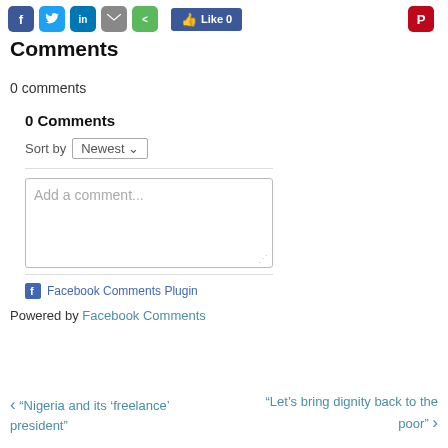[Figure (other): Social sharing icons: Facebook (blue), Twitter (blue), LinkedIn (blue), Email (grey), Share (green), Facebook Like button (blue), Pinterest (red)]
Comments
0 comments
0 Comments
Sort by Newest
[Figure (screenshot): Comment input text area with placeholder text 'Add a comment...' and a resize handle]
Facebook Comments Plugin
Powered by Facebook Comments
< "Nigeria and its 'freelance' president"
"Let's bring dignity back to the poor" >